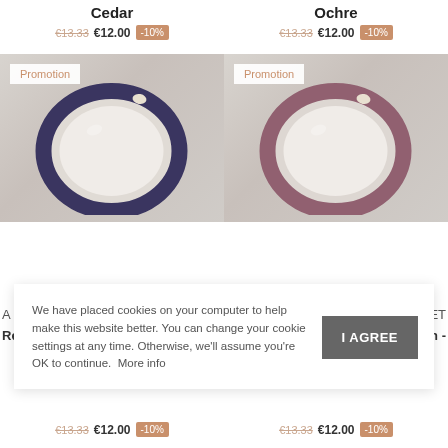Cedar
€13.33  €12.00  -10%
Ochre
€13.33  €12.00  -10%
[Figure (photo): Ceramic plate with dark blue/navy glaze rim on white background, with Promotion badge]
[Figure (photo): Ceramic plate with mauve/dusty rose glaze rim on white background, with Promotion badge]
We have placed cookies on your computer to help make this website better. You can change your cookie settings at any time. Otherwise, we'll assume you're OK to continue. More info
I AGREE
€13.33  €12.00  -10%
€13.33  €12.00  -10%